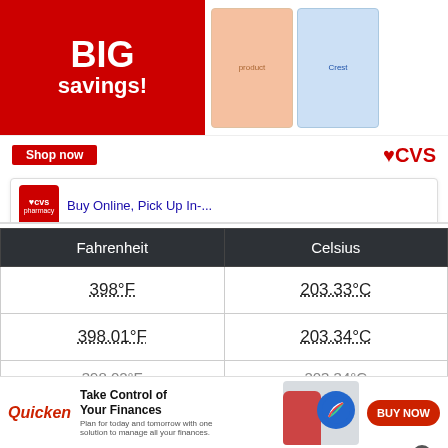[Figure (screenshot): CVS pharmacy advertisement banner showing 'BIG savings!' in red circle with product images, Shop now button, CVS logo, and two search result cards: one for 'Buy Online, Pick Up In-...' and one showing CVS Ashburn location with hours 08:00-00:00]
| Fahrenheit | Celsius |
| --- | --- |
| 398°F | 203.33°C |
| 398.01°F | 203.34°C |
| 398.02°F | 203.34°C |
[Figure (screenshot): Quicken ad banner: 'Take Control of Your Finances - Plan for today and tomorrow with one solution to manage all your finances.' with BUY NOW button]